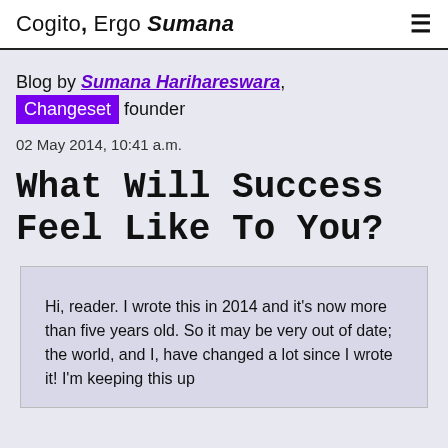Cogito, Ergo Sumana
Blog by Sumana Harihareswara, Changeset founder
02 May 2014, 10:41 a.m.
What Will Success Feel Like To You?
Hi, reader. I wrote this in 2014 and it's now more than five years old. So it may be very out of date; the world, and I, have changed a lot since I wrote it! I'm keeping this up for historic/archiving purposes, but ll...